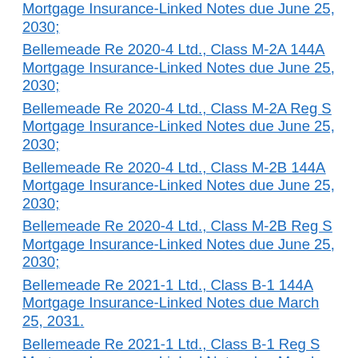Mortgage Insurance-Linked Notes due June 25, 2030;
Bellemeade Re 2020-4 Ltd., Class M-2A 144A Mortgage Insurance-Linked Notes due June 25, 2030;
Bellemeade Re 2020-4 Ltd., Class M-2A Reg S Mortgage Insurance-Linked Notes due June 25, 2030;
Bellemeade Re 2020-4 Ltd., Class M-2B 144A Mortgage Insurance-Linked Notes due June 25, 2030;
Bellemeade Re 2020-4 Ltd., Class M-2B Reg S Mortgage Insurance-Linked Notes due June 25, 2030;
Bellemeade Re 2021-1 Ltd., Class B-1 144A Mortgage Insurance-Linked Notes due March 25, 2031.
Bellemeade Re 2021-1 Ltd., Class B-1 Reg S Mortgage Insurance-Linked Notes due March 25, 2031;